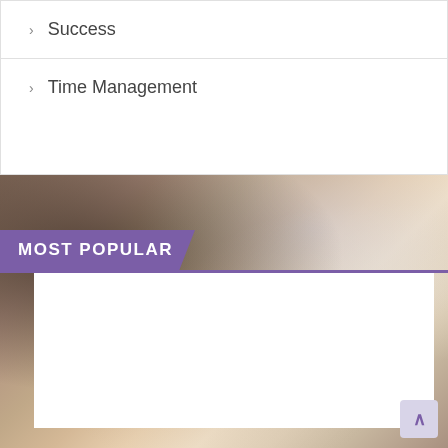› Success
› Time Management
[Figure (photo): Blurred background photo of a student reading a book in a library or classroom setting]
MOST POPULAR